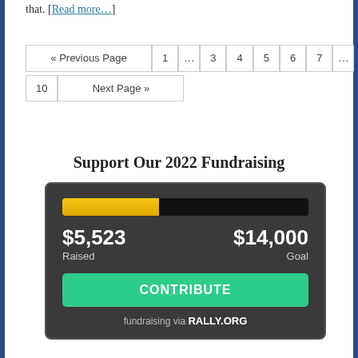that. [Read more…]
« Previous Page  1  …  3  4  5  6  7  …  10  Next Page »
Support Our 2022 Fundraising
[Figure (infographic): Fundraising widget showing a progress bar (yellow fill ~39% complete), $5,523 Raised vs $14,000 Goal, a green CONTRIBUTE button, and 'fundraising via RALLY.ORG' text.]